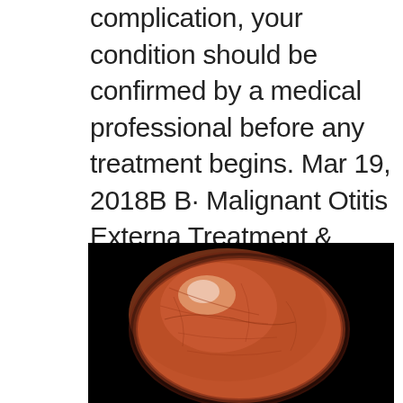complication, your condition should be confirmed by a medical professional before any treatment begins. Mar 19, 2018B B· Malignant Otitis Externa Treatment & Management. Author: Brian Nussenbaum, MD, FACS; Chief Editor: Arlen D Meyers, MD, MBA more... Medical Care. Treatment includes meticulous glucose control, aural toilet, systemic and ototopic antimicrobial therapy, and hyperbaric oxygen therapy.
[Figure (photo): Close-up medical photograph of a reddish-brown ear drum (tympanic membrane) viewed through an otoscope, showing a circular membrane with light reflex and surface texture details against a dark black background.]